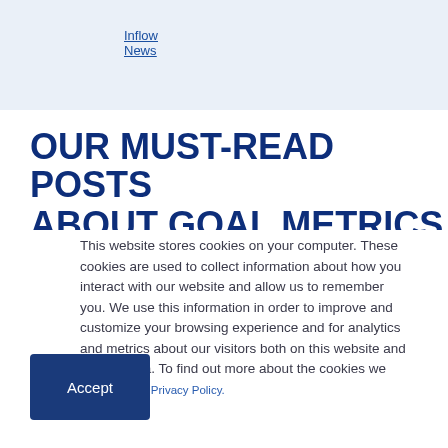Inflow News
OUR MUST-READ POSTS ABOUT GOAL METRICS
This website stores cookies on your computer. These cookies are used to collect information about how you interact with our website and allow us to remember you. We use this information in order to improve and customize your browsing experience and for analytics and metrics about our visitors both on this website and other media. To find out more about the cookies we use, see our Privacy Policy.
Accept